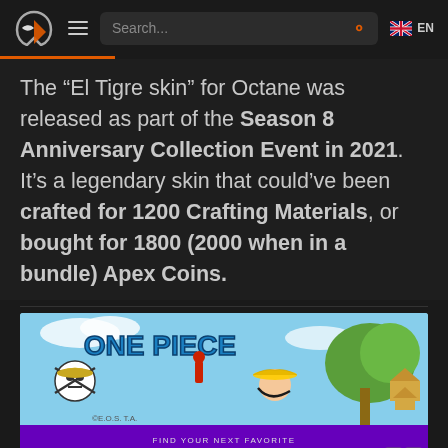Search... EN
The “El Tigre skin” for Octane was released as part of the Season 8 Anniversary Collection Event in 2021. It’s a legendary skin that could’ve been crafted for 1200 Crafting Materials, or bought for 1800 (2000 when in a bundle) Apex Coins.
[Figure (illustration): One Piece anime advertisement banner showing Monkey D. Luffy character with One Piece logo against blue sky background]
[Figure (advertisement): HBO Max advertisement with purple background reading FIND YOUR NEXT FAVORITE with HBO Max logo and SIGN UP NOW button]